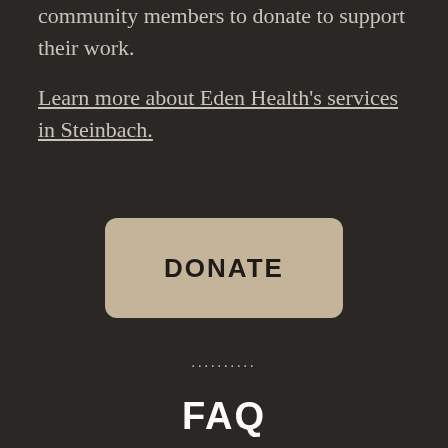community members to donate to support their work.
Learn more about Eden Health's services in Steinbach.
DONATE
..........
FAQ